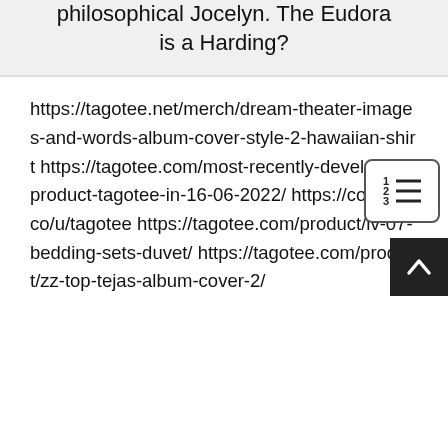philosophical Jocelyn. The Eudora is a Harding?
https://tagotee.net/merch/dream-theater-images-and-words-album-cover-style-2-hawaiian-shirt https://tagotee.com/most-recently-developed-product-tagotee-in-16-06-2022/ https://coolors.co/u/tagotee https://tagotee.com/product/lv-07-bedding-sets-duvet/ https://tagotee.com/product/zz-top-tejas-album-cover-2/